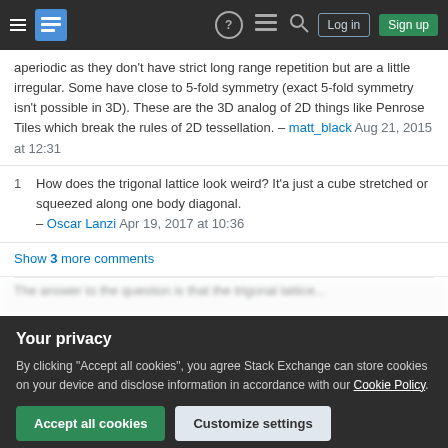Stack Exchange navigation bar with Log in and Sign up buttons
aperiodic as they don't have strict long range repetition but are a little irregular. Some have close to 5-fold symmetry (exact 5-fold symmetry isn't possible in 3D). These are the 3D analog of 2D things like Penrose Tiles which break the rules of 2D tessellation. – matt_black Aug 21, 2015 at 12:31
1  How does the trigonal lattice look weird? It'a just a cube stretched or squeezed along one body diagonal. – Oscar Lanzi Apr 19, 2017 at 10:36
Show 3 more comments
Your privacy
By clicking "Accept all cookies", you agree Stack Exchange can store cookies on your device and disclose information in accordance with our Cookie Policy.
Accept all cookies
Customize settings